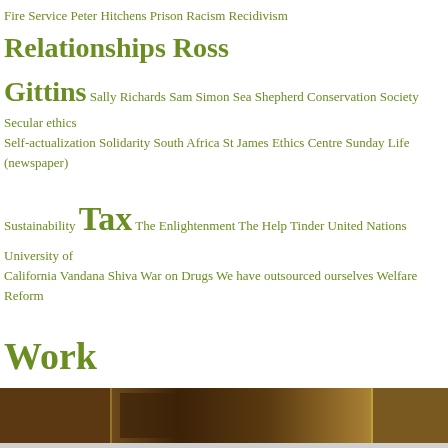Fire Service Peter Hitchens Prison Racism Recidivism Relationships Ross Gittins Sally Richards Sam Simon Sea Shepherd Conservation Society Secular ethics Self-actualization Solidarity South Africa St James Ethics Centre Sunday Life (newspaper) Sustainability Tax The Enlightenment The Help Tinder United Nations University of California Vandana Shiva War on Drugs We have outsourced ourselves Welfare Reform Work
[Figure (photo): Decorative banner image with dark brown tones]
RECENT POSTS
Privacy & Cookies: This site uses cookies. By continuing to use this website, you agree to their use. To find out more, including how to control cookies, see here: Cookie Policy
Close and accept